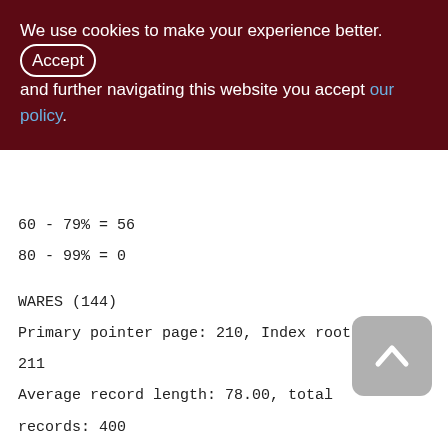We use cookies to make your experience better. By Accepting and further navigating this website you accept our policy.
60 - 79% = 56
80 - 99% = 0
WARES (144)
Primary pointer page: 210, Index root page: 211
Average record length: 78.00, total records: 400
Average version length: 0.00, total versions: 0, max versions: 0
Data pages: 6, data page slots: 6, average fill: 78%
Fill distribution: